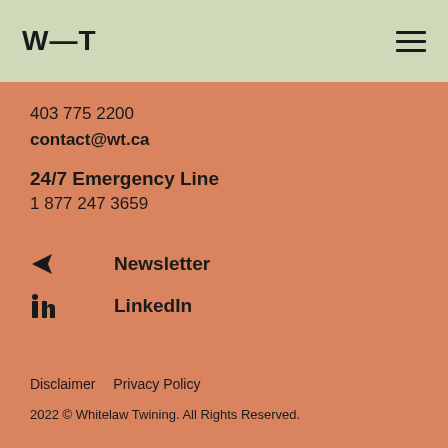W—T
403 775 2200
contact@wt.ca
24/7 Emergency Line
1 877 247 3659
Newsletter
LinkedIn
Disclaimer   Privacy Policy
2022 © Whitelaw Twining. All Rights Reserved.